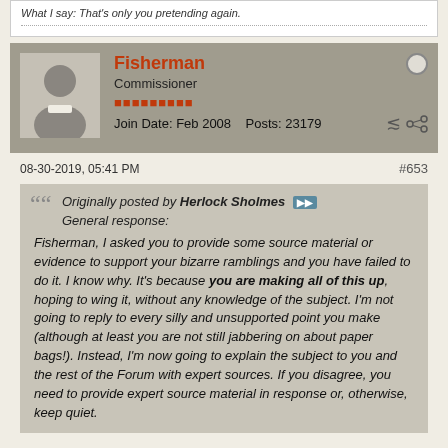What I say: That's only you pretending again.
Fisherman, Commissioner, Join Date: Feb 2008, Posts: 23179
08-30-2019, 05:41 PM
#653
Originally posted by Herlock Sholmes
General response:

Fisherman, I asked you to provide some source material or evidence to support your bizarre ramblings and you have failed to do it. I know why. It's because you are making all of this up, hoping to wing it, without any knowledge of the subject. I'm not going to reply to every silly and unsupported point you make (although at least you are not still jabbering on about paper bags!). Instead, I'm now going to explain the subject to you and the rest of the Forum with expert sources. If you disagree, you need to provide expert source material in response or, otherwise, keep quiet.